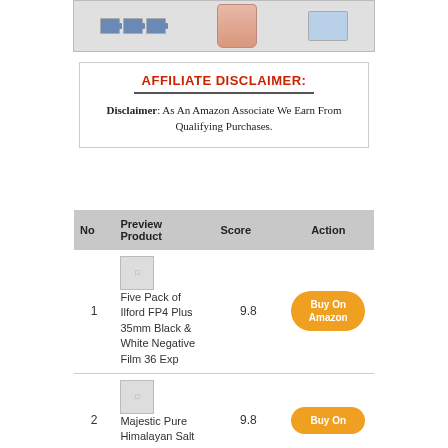[Figure (photo): Product image strip showing battery-like products on left, a pink body lotion bottle in center, and a phone/photo frame on right]
AFFILIATE DISCLAIMER: Disclaimer: As An Amazon Associate We Earn From Qualifying Purchases.
| No | Preview Product | Score | Action |
| --- | --- | --- | --- |
| 1 | Five Pack of Ilford FP4 Plus 35mm Black & White Negative Film 36 Exp | 9.8 | Buy On Amazon |
| 2 | Majestic Pure Himalayan Salt Body | 9.8 | Buy On |